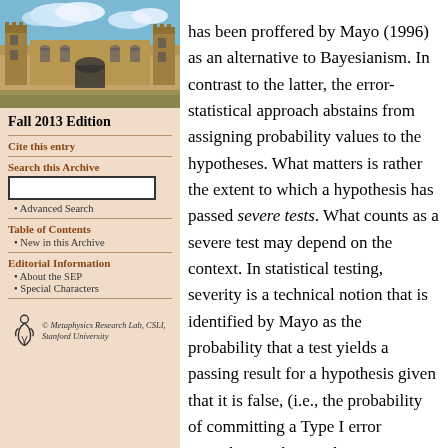[Figure (photo): Photograph of a stone university building with Gothic architecture under a blue sky with clouds]
Fall 2013 Edition
Cite this entry
Search this Archive
Advanced Search
Table of Contents
New in this Archive
Editorial Information
About the SEP
Special Characters
© Metaphysics Research Lab, CSLI, Stanford University
has been proffered by Mayo (1996) as an alternative to Bayesianism. In contrast to the latter, the error-statistical approach abstains from assigning probability values to the hypotheses. What matters is rather the extent to which a hypothesis has passed severe tests. What counts as a severe test may depend on the context. In statistical testing, severity is a technical notion that is identified by Mayo as the probability that a test yields a passing result for a hypothesis given that it is false, (i.e., the probability of committing a Type I error according to the usual error typology). The basis for this approach is the